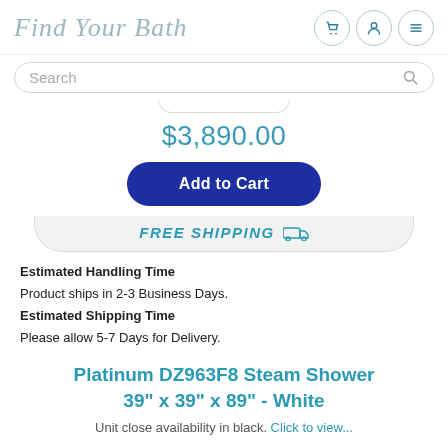Find Your Bath
Search
$3,890.00
Add to Cart
FREE SHIPPING
Estimated Handling Time
Product ships in 2-3 Business Days.
Estimated Shipping Time
Please allow 5-7 Days for Delivery.
Platinum DZ963F8 Steam Shower 39" x 39" x 89" - White
Unit close availability in black. Click to view...